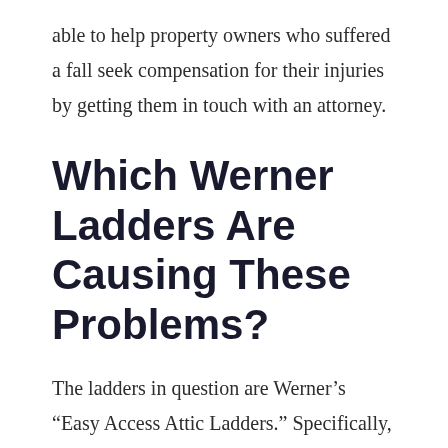able to help property owners who suffered a fall seek compensation for their injuries by getting them in touch with an attorney.
Which Werner Ladders Are Causing These Problems?
The ladders in question are Werner’s “Easy Access Attic Ladders.” Specifically, they are the S2208 and S2210 models, which are eight- and ten-foot steel ladders,